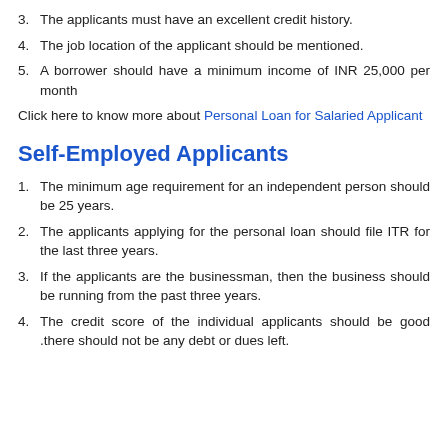3. The applicants must have an excellent credit history.
4. The job location of the applicant should be mentioned.
5. A borrower should have a minimum income of INR 25,000 per month
Click here to know more about Personal Loan for Salaried Applicant
Self-Employed Applicants
1. The minimum age requirement for an independent person should be 25 years.
2. The applicants applying for the personal loan should file ITR for the last three years.
3. If the applicants are the businessman, then the business should be running from the past three years.
4. The credit score of the individual applicants should be good .there should not be any debt or dues left.